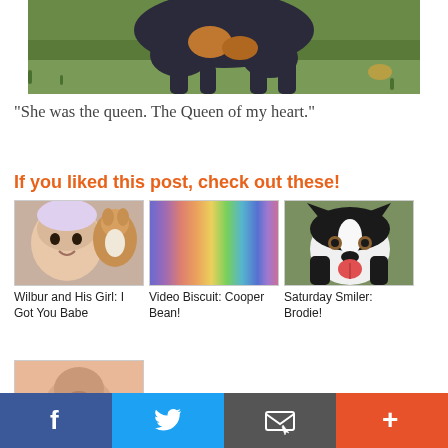[Figure (photo): Partial dog photo on grass, viewed from above, cropped at top]
“She was the queen.  The Queen of my heart.”
If you liked this post, check out these!
[Figure (photo): Baby with a corgi dog in background - Wilbur and His Girl: I Got You Babe]
Wilbur and His Girl: I Got You Babe
[Figure (photo): Rainbow colored vertical stripes - Video Biscuit: Cooper Bean!]
Video Biscuit: Cooper Bean!
[Figure (photo): Black and white dog smiling - Saturday Smiler: Brodie!]
Saturday Smiler: Brodie!
[Figure (photo): Partial fourth thumbnail image at bottom]
Social share bar with Facebook, Twitter, Email, and More buttons